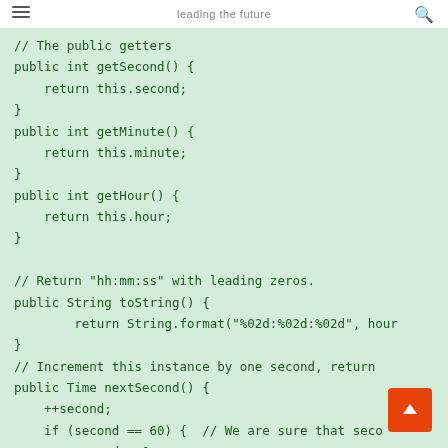leading the future
[Figure (screenshot): Java code snippet showing public getters for second, minute, hour fields, a toString() method returning hh:mm:ss format, and the beginning of a nextSecond() method incrementing time values.]